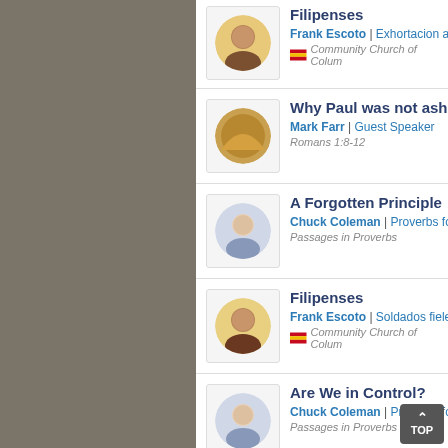Filipenses | Frank Escoto | Exhortacion a... | Community Church of Colum...
Why Paul was not ash... | Mark Farr | Guest Speaker | Romans 1:8-12
A Forgotten Principle... | Chuck Coleman | Proverbs fo... | Passages in Proverbs
Filipenses | Frank Escoto | Soldados fiele... | Community Church of Colum...
Are We in Control? | Chuck Coleman | Proverbs fo... | Passages in Proverbs